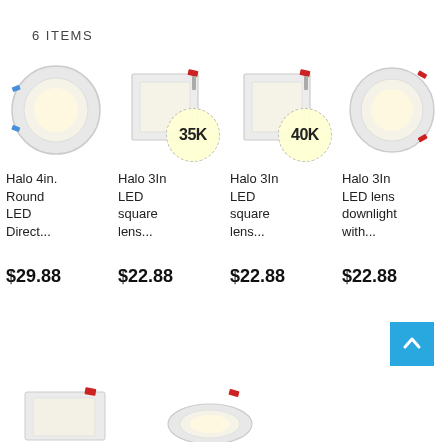6 ITEMS
[Figure (photo): Halo 4in. Round LED downlight product image]
[Figure (photo): Halo 3In LED square lens downlight product image with 35K badge]
[Figure (photo): Halo 3In LED square lens downlight product image with 40K badge]
[Figure (photo): Halo 3In LED lens downlight with round trim product image]
Halo 4in. Round LED Direct...
Halo 3In LED square lens...
Halo 3In LED square lens...
Halo 3In LED lens downlight with...
$29.88
$22.88
$22.88
$22.88
[Figure (photo): Partial view of bottom row product 1 - square LED downlight]
[Figure (photo): Partial view of bottom row product 2 - round LED downlight]